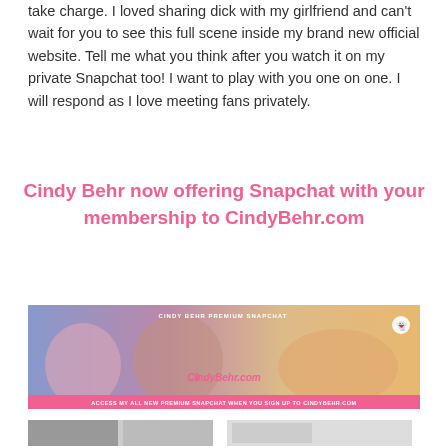take charge. I loved sharing dick with my girlfriend and can't wait for you to see this full scene inside my brand new official website. Tell me what you think after you watch it on my private Snapchat too! I want to play with you one on one. I will respond as I love meeting fans privately.
Cindy Behr now offering Snapchat with your membership to CindyBehr.com
[Figure (photo): Promotional banner for CindyBehr.com showing blonde model in lingerie with text 'CINDY BEHR PREMIUM SNAPCHAT' and 'ACCESS MY ALL NEW PREMIUM SNAPCHAT WHEN YOU SIGN UP TO CINDYBEHR.COM']
[Figure (photo): Two thumbnail images at the bottom of the page]